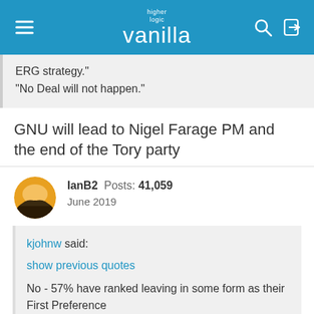higher logic vanilla
ERG strategy."
"No Deal will not happen."
GNU will lead to Nigel Farage PM and the end of the Tory party
IanB2  Posts: 41,059
June 2019
kjohnw said:
show previous quotes
No - 57% have ranked leaving in some form as their First Preference
But you can only actually leave in one form. And - as